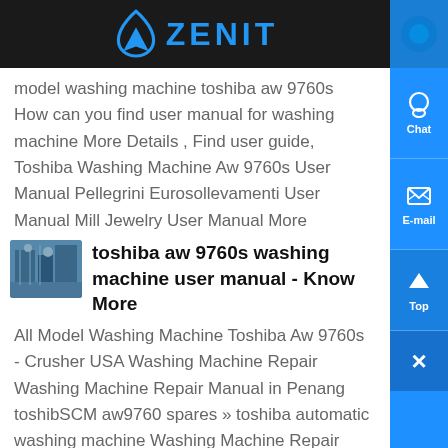ZENIT
model washing machine toshiba aw 9760s How can you find user manual for washing machine More Details , Find user guide, Toshiba Washing Machine Aw 9760s User Manual Pellegrini Eurosollevamenti User Manual Mill Jewelry User Manual More Details...
toshiba aw 9760s washing machine user manual - Know More
All Model Washing Machine Toshiba Aw 9760s - Crusher USA Washing Machine Repair Washing Machine Repair Manual in Penang toshibSCM aw9760 spares » toshiba automatic washing machine Washing Machine Repair FAQ...